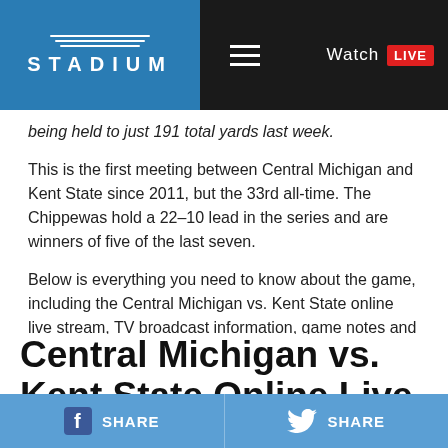Stadium | Watch LIVE
being held to just 191 total yards last week.
This is the first meeting between Central Michigan and Kent State since 2011, but the 33rd all-time. The Chippewas hold a 22–10 lead in the series and are winners of five of the last seven.
Below is everything you need to know about the game, including the Central Michigan vs. Kent State online live stream, TV broadcast information, game notes and prediction.
Central Michigan vs. Kent State Online Live Stream, Game Broadcast
SHARE  SHARE